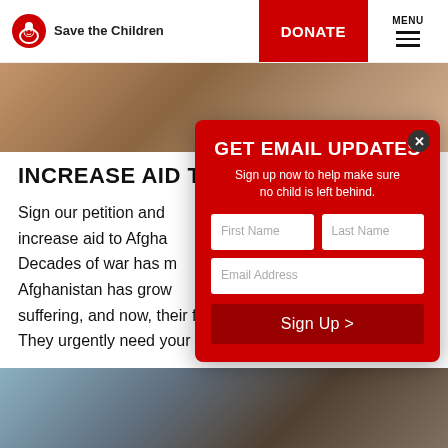Save the Children  DONATE  MENU
[Figure (photo): Hero image strip showing a child or scene from Afghanistan]
INCREASE AID TO A...
Sign our petition and increase aid to Afgha... Decades of war has m... Afghanistan has grow... suffering, and now, their future looks desperate. They urgently need your voice.
[Figure (screenshot): Email signup modal overlay with title GET EMAIL UPDATES, subtitle Sign up now to help make sure no child is left behind, First Name, Last Name, Email Address fields, and Sign Up > button]
[Figure (photo): Bottom strip photo showing people including a woman]